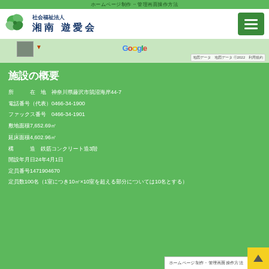ホームページ制作・管理画面操作方法
[Figure (screenshot): Navigation bar with clover logo, 社会福祉法人 湘南遊愛会, and hamburger menu button]
[Figure (map): Google Maps strip showing location with pin and map thumbnail]
施設の概要
所 在 地　神奈川県藤沢市鵠沼海岸44-7
電話番号（代表）0466-34-1900
ファックス番号　0466-34-1901
敷地面積7,652.69㎡
延床面積4,602.96㎡
構 造　鉄筋コンクリート造3階
開設年月日24年4月1日
定員番号1471904670
定員数100名（1室につき10㎡×10室を超える部分については10名とする）